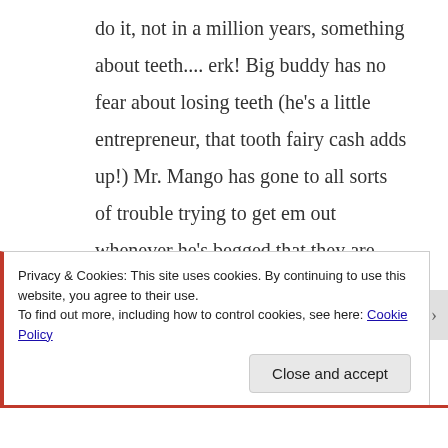do it, not in a million years, something about teeth.... erk! Big buddy has no fear about losing teeth (he's a little entrepreneur, that tooth fairy cash adds up!) Mr. Mango has gone to all sorts of trouble trying to get em out whenever he's begged that they are ready. String to baseball, string to door handle, apples, you name it. Meanwhile I'm shuttering in the corner barely able to
Privacy & Cookies: This site uses cookies. By continuing to use this website, you agree to their use.
To find out more, including how to control cookies, see here: Cookie Policy